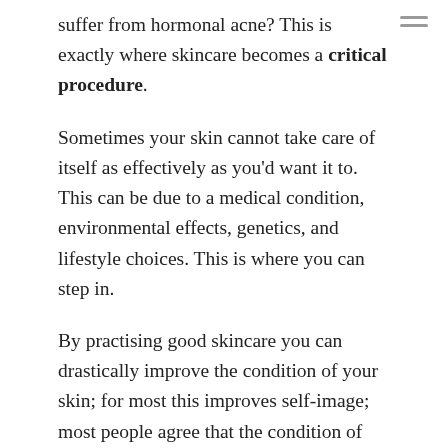suffer from hormonal acne? This is exactly where skincare becomes a critical procedure.
Sometimes your skin cannot take care of itself as effectively as you'd want it to. This can be due to a medical condition, environmental effects, genetics, and lifestyle choices. This is where you can step in.
By practising good skincare you can drastically improve the condition of your skin; for most this improves self-image; most people agree that the condition of their skin is a factor influencing self-worth and mental health.
Not only is skincare important for mental health, but also from a medical standpoint. By practising good lifestyle habits such as avoiding direct sunlight and